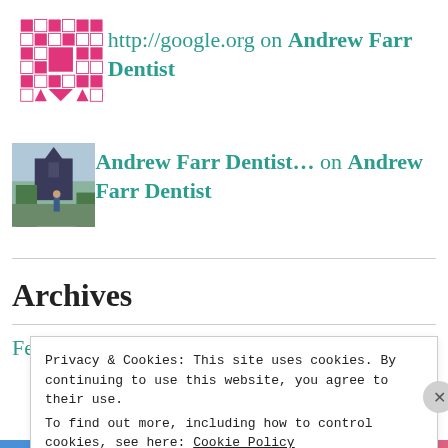http://google.org on Andrew Farr Dentist
Andrew Farr Dentist… on Andrew Farr Dentist
Archives
February 2020
Privacy & Cookies: This site uses cookies. By continuing to use this website, you agree to their use.
To find out more, including how to control cookies, see here: Cookie Policy
Close and accept